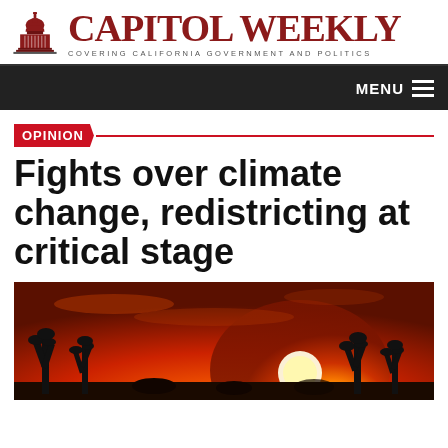CAPITOL WEEKLY — COVERING CALIFORNIA GOVERNMENT AND POLITICS
OPINION
Fights over climate change, redistricting at critical stage
[Figure (photo): Silhouette of Joshua trees against a bright orange and red sunset sky, evoking a hot desert climate scene]